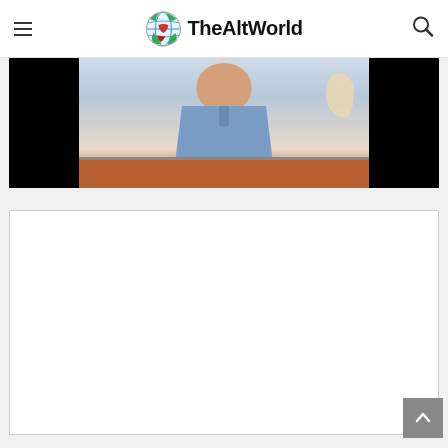TheAltWorld
[Figure (screenshot): Video thumbnail showing a man in a light blue polo shirt seated, with a shell ornament visible on a shelf behind him. Black bars on left and right sides of video frame.]
[Figure (other): White advertisement placeholder box with grey border]